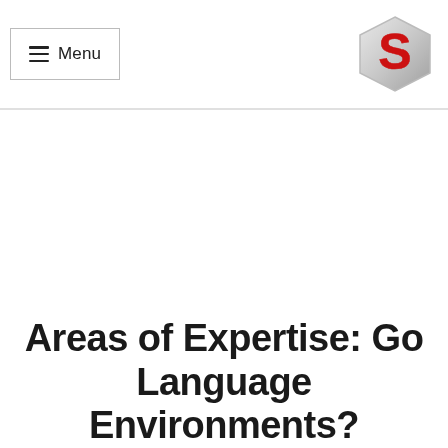≡ Menu
[Figure (logo): Hexagonal logo with stylized red letter S on silver/grey background]
Areas of Expertise: Go Language Environments?